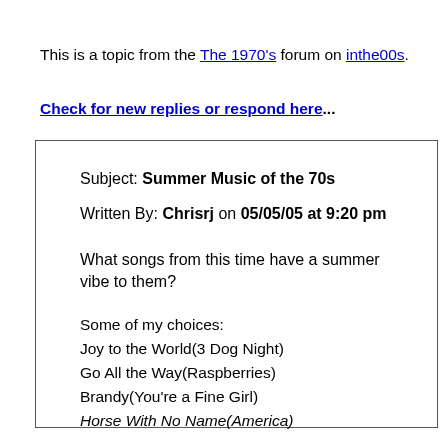This is a topic from the The 1970's forum on inthe00s.
Check for new replies or respond here...
Subject: Summer Music of the 70s
Written By: Chrisrj on 05/05/05 at 9:20 pm

What songs from this time have a summer vibe to them?

Some of my choices:
Joy to the World(3 Dog Night)
Go All the Way(Raspberries)
Brandy(You're a Fine Girl)
Horse With No Name(America)